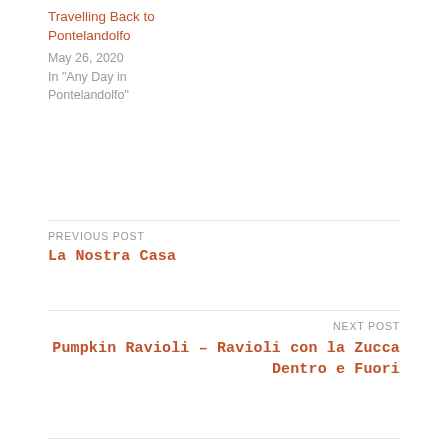Travelling Back to Pontelandolfo
May 26, 2020
In "Any Day in Pontelandolfo"
PREVIOUS POST
La Nostra Casa
NEXT POST
Pumpkin Ravioli – Ravioli con la Zucca Dentro e Fuori